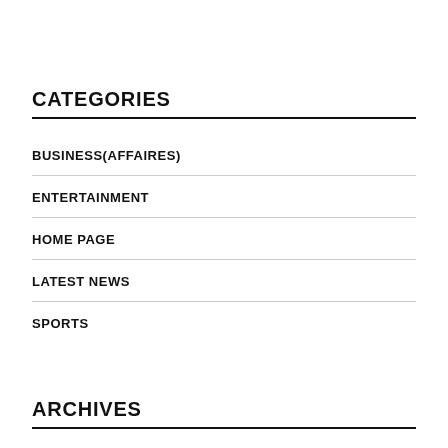CATEGORIES
BUSINESS(AFFAIRES)
ENTERTAINMENT
HOME PAGE
LATEST NEWS
SPORTS
ARCHIVES